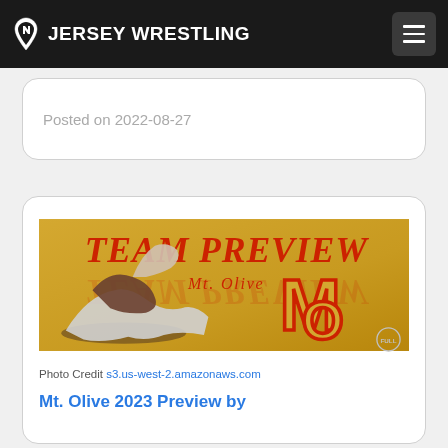JERSEY WRESTLING
Posted on 2022-08-27
[Figure (photo): Team Preview promotional image for Mt. Olive wrestling. Gold background with 'TEAM PREVIEW' text in red and 'Mt. Olive' subtitle. Two wrestlers grappling on the left side and a large 'MO' letter logo on the right.]
Photo Credit s3.us-west-2.amazonaws.com
Mt. Olive 2023 Preview by